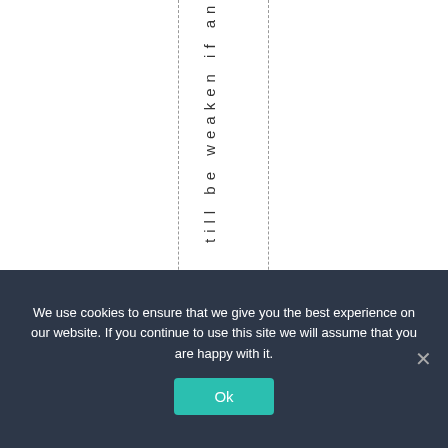till be weaken if an
We use cookies to ensure that we give you the best experience on our website. If you continue to use this site we will assume that you are happy with it.